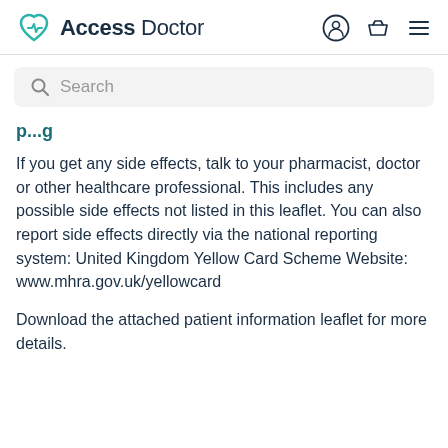Access Doctor
Search
p...g
If you get any side effects, talk to your pharmacist, doctor or other healthcare professional. This includes any possible side effects not listed in this leaflet. You can also report side effects directly via the national reporting system: United Kingdom Yellow Card Scheme Website: www.mhra.gov.uk/yellowcard
Download the attached patient information leaflet for more details.